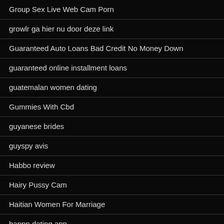Group Sex Live Web Cam Porn
growlr ga hier nu door deze link
Guaranteed Auto Loans Bad Credit No Money Down
guaranteed online installment loans
guatemalan women dating
Gummies With Cbd
guyanese brides
guyspy avis
Habbo review
Hairy Pussy Cam
Haitian Women For Marriage
happn dating app
happn hookup